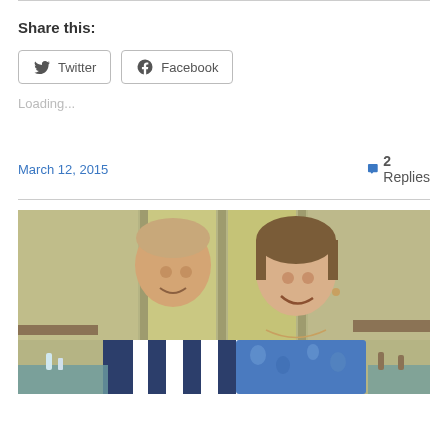Share this:
[Figure (other): Twitter and Facebook share buttons]
Loading...
March 12, 2015
2 Replies
[Figure (photo): Two people smiling together in a room — a younger man with short hair wearing a navy blue and white patterned shirt, and a middle-aged woman with short brown hair wearing a blue floral top, in what appears to be a conference or classroom setting.]